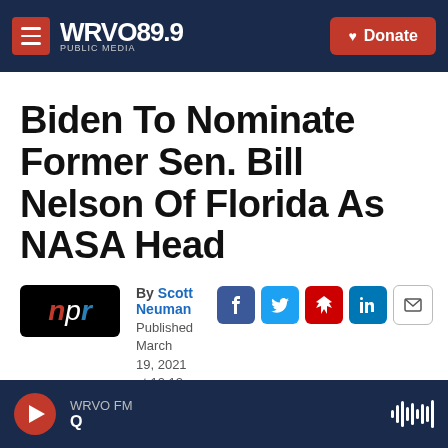WRVO 89.9 PUBLIC MEDIA | Donate
Biden To Nominate Former Sen. Bill Nelson Of Florida As NASA Head
By Scott Neuman
Published March 19, 2021 at 10:12 AM EDT
[Figure (logo): NPR logo — n in red, p in white, r in blue on black background]
[Figure (infographic): Social share buttons: Facebook, Twitter, Flipboard, LinkedIn, Email]
WRVO FM | Q